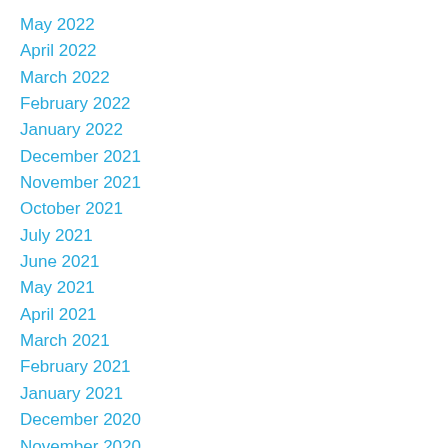May 2022
April 2022
March 2022
February 2022
January 2022
December 2021
November 2021
October 2021
July 2021
June 2021
May 2021
April 2021
March 2021
February 2021
January 2021
December 2020
November 2020
October 2020